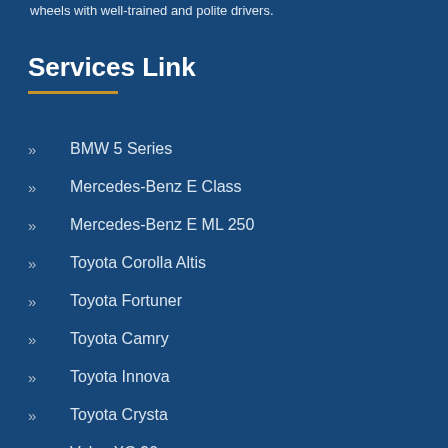wheels with well-trained and polite drivers.
Services Link
BMW 5 Series
Mercedes-Benz E Class
Mercedes-Benz E ML 250
Toyota Corolla Altis
Toyota Fortuner
Toyota Camry
Toyota Innova
Toyota Crysta
Volvo XC 90